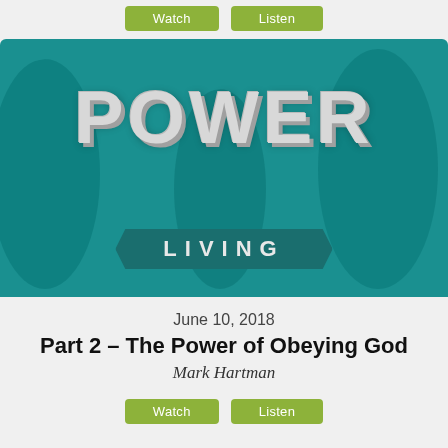[Figure (screenshot): Watch and Listen buttons at top of page, green rounded rectangle buttons]
[Figure (illustration): Power Living sermon series banner image with teal background, large POWER text and LIVING ribbon banner, silhouettes of people]
June 10, 2018
Part 2 – The Power of Obeying God
Mark Hartman
[Figure (screenshot): Watch and Listen buttons at bottom of page, green rounded rectangle buttons]